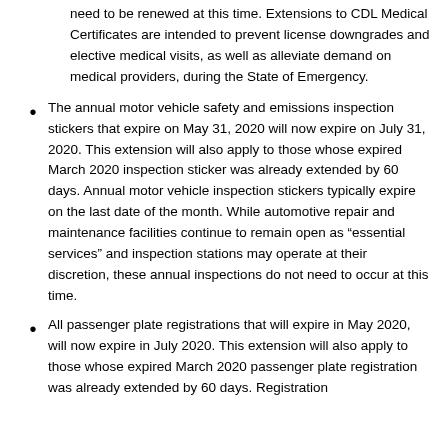need to be renewed at this time. Extensions to CDL Medical Certificates are intended to prevent license downgrades and elective medical visits, as well as alleviate demand on medical providers, during the State of Emergency.
The annual motor vehicle safety and emissions inspection stickers that expire on May 31, 2020 will now expire on July 31, 2020. This extension will also apply to those whose expired March 2020 inspection sticker was already extended by 60 days. Annual motor vehicle inspection stickers typically expire on the last date of the month. While automotive repair and maintenance facilities continue to remain open as “essential services” and inspection stations may operate at their discretion, these annual inspections do not need to occur at this time.
All passenger plate registrations that will expire in May 2020, will now expire in July 2020. This extension will also apply to those whose expired March 2020 passenger plate registration was already extended by 60 days. Registration